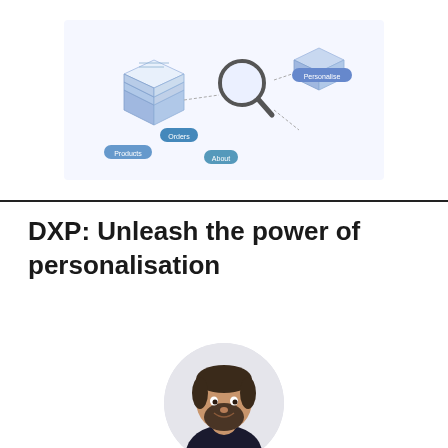[Figure (illustration): Isometric illustration showing digital experience platform concepts with documents, magnifying glass, and connected elements with small label pills]
DXP: Unleash the power of personalisation
[Figure (photo): Circular portrait photo of Toby Margetts, a man with short dark hair and beard, wearing a dark top]
Toby Margetts
11 December 2019
[Figure (photo): Bottom strip image, partially visible, appears to be a light grey marble or desk surface]